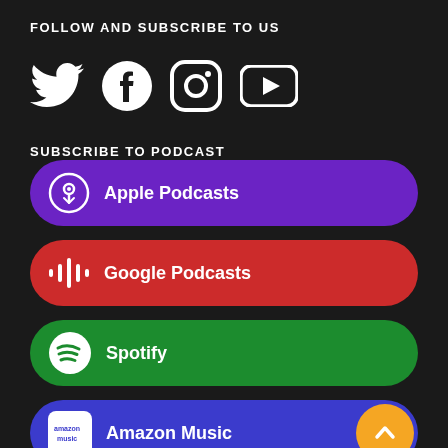FOLLOW AND SUBSCRIBE TO US
[Figure (infographic): Social media icons: Twitter (bird), Facebook (f), Instagram (camera), YouTube (play button) — all white on dark background]
SUBSCRIBE TO PODCAST
[Figure (infographic): Apple Podcasts subscription button — purple rounded rectangle with podcast icon and label]
[Figure (infographic): Google Podcasts subscription button — red rounded rectangle with Google Podcasts icon and label]
[Figure (infographic): Spotify subscription button — green rounded rectangle with Spotify icon and label]
[Figure (infographic): Amazon Music subscription button — blue rounded rectangle with Amazon Music logo, and a golden scroll-to-top circle button on the right]
[Figure (infographic): Partial green rounded bar at the bottom of the page (another podcast platform partially visible)]